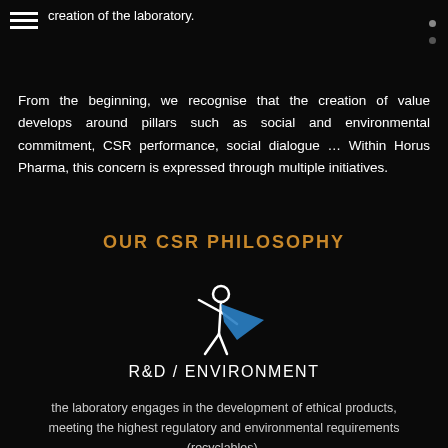creation of the laboratory.
From the beginning, we recognise that the creation of value develops around pillars such as social and environmental commitment, CSR performance, social dialogue … Within Horus Pharma, this concern is expressed through multiple initiatives.
OUR CSR PHILOSOPHY
[Figure (illustration): White stick figure icon of a person in a dynamic pose with a blue cape/wing shape, resembling a superhero running or flying]
R&D / ENVIRONMENT
the laboratory engages in the development of ethical products, meeting the highest regulatory and environmental requirements (recyclables).